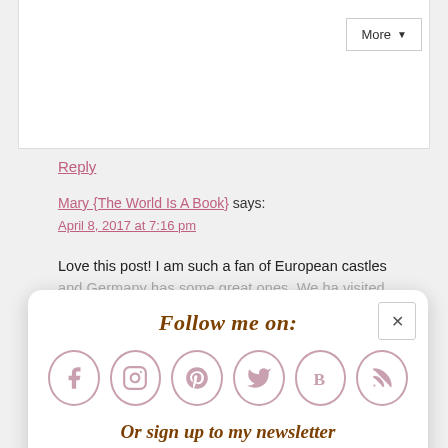More ▾
Reply
Mary {The World Is A Book} says:
April 8, 2017 at 7:16 pm
Love this post! I am such a fan of European castles and Germany has some great ones. We ha visited
Follow me on:
[Figure (infographic): Six circular social media icons: Facebook, Instagram, Pinterest, Twitter, Bloglovin, RSS]
Or sign up to my newsletter
Subscribe  Sign Up!
Hope you can visit the rest then!! If you go to Burg Eltz, GO EARLY!!!